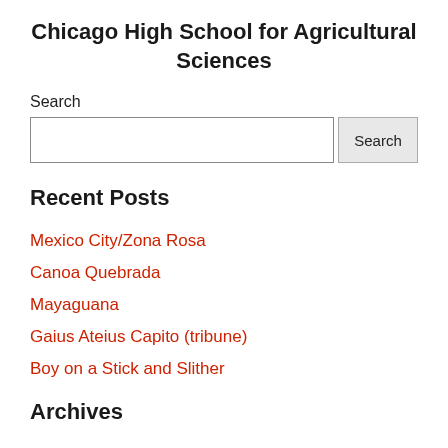Chicago High School for Agricultural Sciences
Search
Recent Posts
Mexico City/Zona Rosa
Canoa Quebrada
Mayaguana
Gaius Ateius Capito (tribune)
Boy on a Stick and Slither
Archives